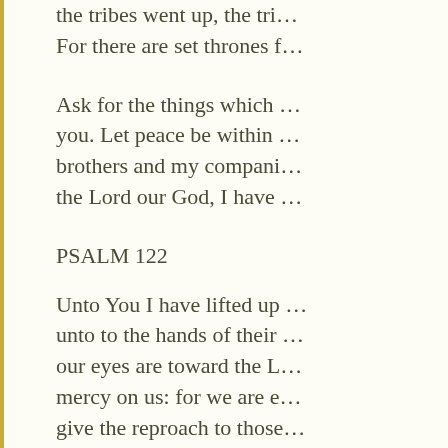the tribes went up, the tri… For there are set thrones f…
Ask for the things which … you. Let peace be within … brothers and my compani… the Lord our God, I have …
PSALM 122
Unto You I have lifted up … unto to the hands of their … our eyes are toward the L… mercy on us: for we are e… give the reproach to those…
PSALM 123
If it had not been that th…